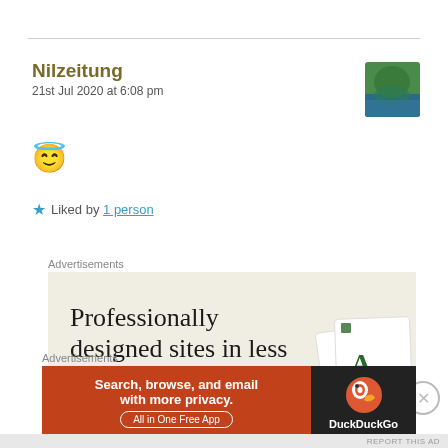Nilzeitung
21st Jul 2020 at 6:08 pm
[Figure (photo): Small avatar thumbnail showing a green tree/nature scene reflected in water]
😇
★ Liked by 1 person
Advertisements
[Figure (screenshot): Advertisement banner with beige background reading 'Professionally designed sites in less than a week' with card design elements on the right]
Advertisements
[Figure (screenshot): DuckDuckGo advertisement: 'Search, browse, and email with more privacy. All in One Free App' with orange left panel and dark right panel showing DuckDuckGo logo]